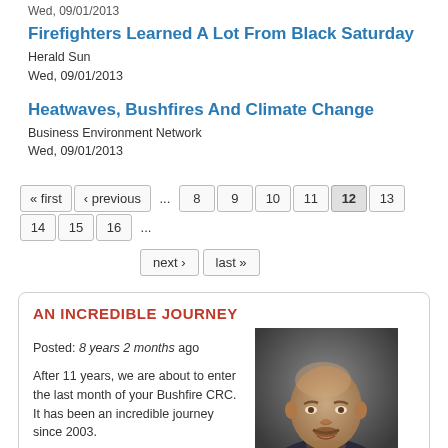Wed, 09/01/2013
Firefighters Learned A Lot From Black Saturday
Herald Sun
Wed, 09/01/2013
Heatwaves, Bushfires And Climate Change
Business Environment Network
Wed, 09/01/2013
« first ‹ previous ... 8 9 10 11 12 13 14 15 16 ...
next › last »
AN INCREDIBLE JOURNEY
Posted: 8 years 2 months ago
After 11 years, we are about to enter the last month of your Bushfire CRC. It has been an incredible journey since 2003.

For me, what has stood out the most, notwithstanding the ground breaking research, is the culture change the industry has undertaken throughout this period. It is the...
[Figure (photo): Portrait photo of Gary Morgan, CEO of Bushfire CRC, a bald middle-aged man in a dark suit]
Gary Morgan
CEO Bushfire CRC